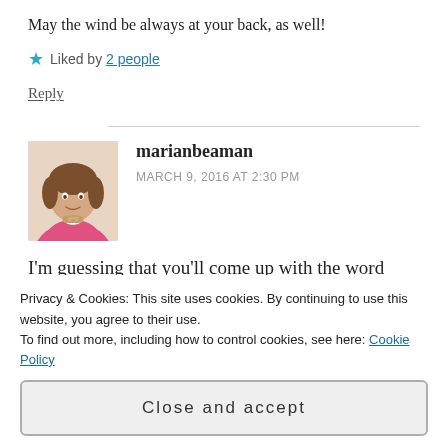May the wind be always at your back, as well!
Liked by 2 people
Reply
marianbeaman
MARCH 9, 2016 AT 2:30 PM
I'm guessing that you'll come up with the word
Privacy & Cookies: This site uses cookies. By continuing to use this website, you agree to their use.
To find out more, including how to control cookies, see here: Cookie Policy
Close and accept